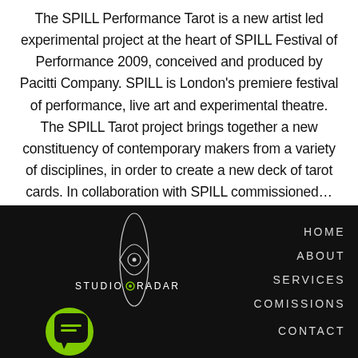The SPILL Performance Tarot is a new artist led experimental project at the heart of SPILL Festival of Performance 2009, conceived and produced by Pacitti Company. SPILL is London's premiere festival of performance, live art and experimental theatre. The SPILL Tarot project brings together a new constituency of contemporary makers from a variety of disciplines, in order to create a new deck of tarot cards. In collaboration with SPILL commissioned...
[Figure (screenshot): Studio Radar website footer on black background with logo (eye/lens shape with STUDIO RADAR text), a green chat bubble icon bottom left, and navigation links: HOME, ABOUT, SERVICES, COMISSIONS, CONTACT on the right.]